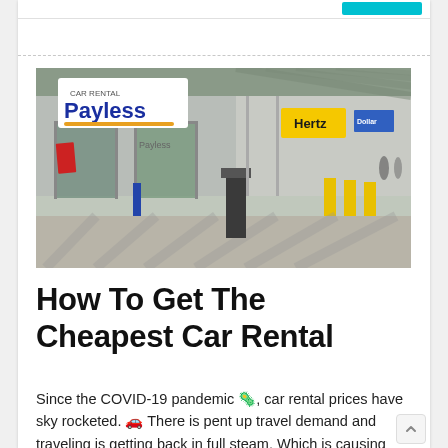[Figure (photo): Airport car rental facility exterior showing Payless Car Rental and Hertz signage with covered walkway, glass doors, and yellow bollards in sunlight]
How To Get The Cheapest Car Rental
Since the COVID-19 pandemic 🦠, car rental prices have sky rocketed. 🚗 There is pent up travel demand and traveling is getting back in full steam. Which is causing popular